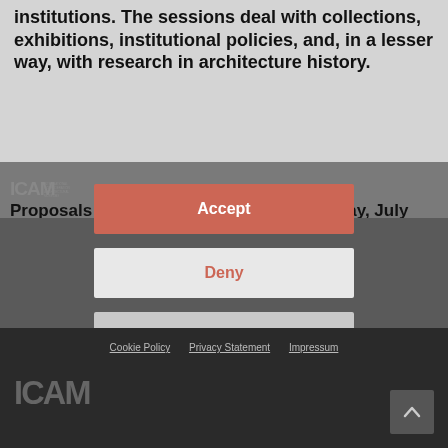institutions. The sessions deal with collections, exhibitions, institutional policies, and, in a lesser way, with research in architecture history.
Proposals are to be submitted before Friday, July 17th 2009.
We use cookies to optimize our website and our service.
Accept
Deny
Preferences
Cookie Policy   Privacy Statement   Impressum